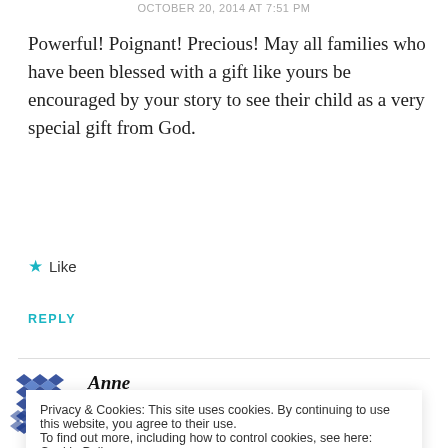OCTOBER 20, 2014 AT 7:51 PM
Powerful! Poignant! Precious! May all families who have been blessed with a gift like yours be encouraged by your story to see their child as a very special gift from God.
★ Like
REPLY
Anne
Privacy & Cookies: This site uses cookies. By continuing to use this website, you agree to their use.
To find out more, including how to control cookies, see here: Cookie Policy
Close and accept
creator who has done all things well....